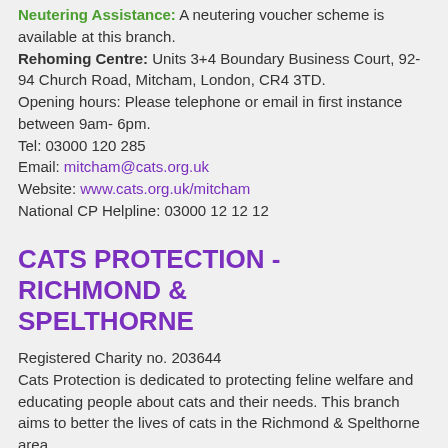Neutering Assistance: A neutering voucher scheme is available at this branch. Rehoming Centre: Units 3+4 Boundary Business Court, 92-94 Church Road, Mitcham, London, CR4 3TD. Opening hours: Please telephone or email in first instance between 9am- 6pm. Tel: 03000 120 285 Email: mitcham@cats.org.uk Website: www.cats.org.uk/mitcham National CP Helpline: 03000 12 12 12
CATS PROTECTION - RICHMOND & SPELTHORNE
Registered Charity no. 203644 Cats Protection is dedicated to protecting feline welfare and educating people about cats and their needs. This branch aims to better the lives of cats in the Richmond & Spelthorne area. Adopt a Cat: Contact the shelter as below to ask about cats needing homes. Tel: 0345 260 1642 Email: info@richmond.cats.org.uk Website: www.cats.org.uk/richmond National CP Helpline: 03000 12 12 12